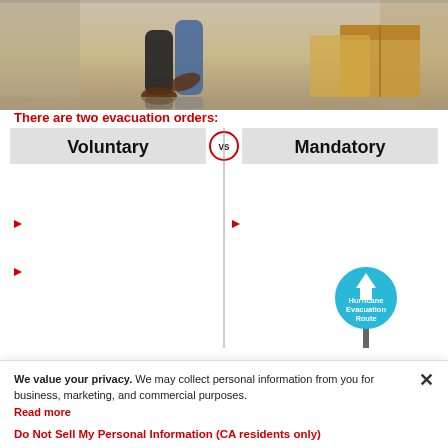[Figure (photo): Photo of a person's legs and feet carrying moving boxes, stepping through a doorway on a reflective floor]
There are two evacuation orders:
[Figure (infographic): Two-column infographic comparing Voluntary vs Mandatory evacuation orders. Left column: Voluntary - Heed the voluntary evacuation if the following apply: bullet 1: You live in a flood-prone area, a mobile home or a structurally unstable building. bullet 2: You are traveling with young children, elderly family members or people with special needs. Right column: Mandatory - During a mandatory evacuation you must, by law, leave. bullet: Use identified evacuation routes even if traffic is bad; alternative routes may be closed. Includes a Hurricane Evacuation Route sign graphic.]
We value your privacy. We may collect personal information from you for business, marketing, and commercial purposes. Read more
Do Not Sell My Personal Information (CA residents only)